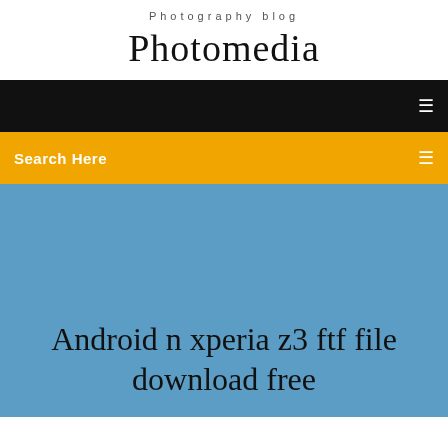Photography blog
Photomedia
[Figure (screenshot): Black navigation bar with a small white menu icon on the right]
[Figure (screenshot): Orange/amber search bar with 'Search Here' text on the left and a small white icon on the right]
Android n xperia z3 ftf file download free